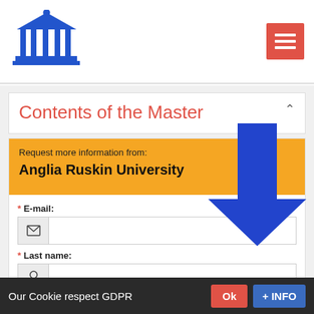[Figure (logo): Blue university/institution logo with columns and pediment]
[Figure (infographic): Red hamburger menu button with three white lines]
Contents of the Master
Request more information from:
Anglia Ruskin University
[Figure (illustration): Large blue downward-pointing arrow overlay on orange banner]
* E-mail:
* Last name:
* First name:
Our Cookie respect GDPR  Ok  + INFO